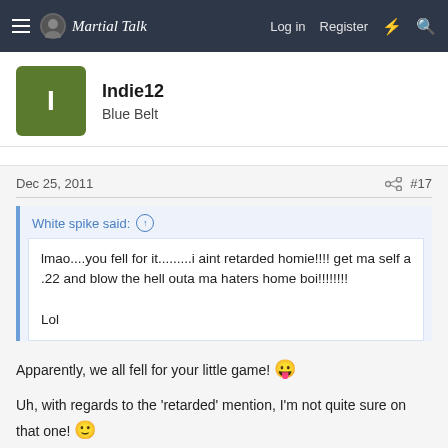Martial Talk — Log in | Register
Indie12
Blue Belt
Dec 25, 2011   #17
White spike said: ↑
lmao....you fell for it.........i aint retarded homie!!!! get ma self a .22 and blow the hell outa ma haters home boi!!!!!!!!

Lol
Apparently, we all fell for your little game! 😛
Uh, with regards to the 'retarded' mention, I'm not quite sure on that one! 🙂